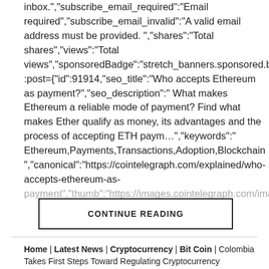inbox.","subscribe_email_required":"Email required","subscribe_email_invalid":"A valid email address must be provided. ","shares":"Total shares","views":"Total views","sponsoredBadge":"stretch_banners.sponsored.badge :post={"id":91914,"seo_title":"Who accepts Ethereum as payment?","seo_description":" What makes Ethereum a reliable mode of payment? Find what makes Ether qualify as money, its advantages and the process of accepting ETH paym…","keywords":" Ethereum,Payments,Transactions,Adoption,Blockchain ","canonical":"https://cointelegraph.com/explained/who-accepts-ethereum-as-payment","thumb":"https://images.cointelegraph.com/ima
CONTINUE READING
Home | Latest News | Cryptocurrency | Bit Coin | Colombia Takes First Steps Toward Regulating Cryptocurrency Exchanges